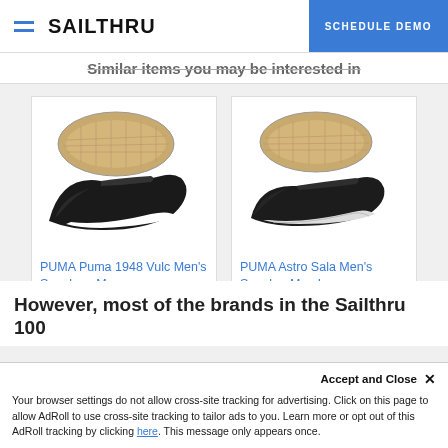SAILTHRU | SCHEDULE DEMO
Similar items you may be interested in
[Figure (photo): PUMA Puma 1948 Vulc Men's Sneaker - black sneaker shown from side and bottom]
PUMA Puma 1948 Vulc Men's Sneakers Me…
$34.99
Buy it now
[Figure (photo): PUMA Astro Sala Men's Sneaker - black sneaker shown from side and bottom]
PUMA Astro Sala Men's Sneaker Men Low…
$34.99
Buy it now
However, most of the brands in the Sailthru 100
Accept and Close ✕
Your browser settings do not allow cross-site tracking for advertising. Click on this page to allow AdRoll to use cross-site tracking to tailor ads to you. Learn more or opt out of this AdRoll tracking by clicking here. This message only appears once.